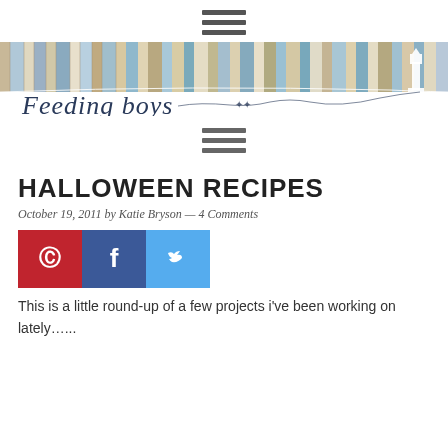Navigation menu icon (hamburger)
[Figure (illustration): Blog banner with weathered wood plank strips in shades of blue, beige, tan and brown, with a lighthouse silhouette on the right, and the cursive blog name 'Feeding boys' with a scenic horizon line illustration]
[Figure (illustration): Navigation menu icon (hamburger) below the banner]
HALLOWEEN RECIPES
October 19, 2011 by Katie Bryson — 4 Comments
[Figure (infographic): Three social sharing buttons: Pinterest (red with P logo), Facebook (dark blue with f logo), Twitter (light blue with bird logo)]
This is a little round-up of a few projects i've been working on lately…..